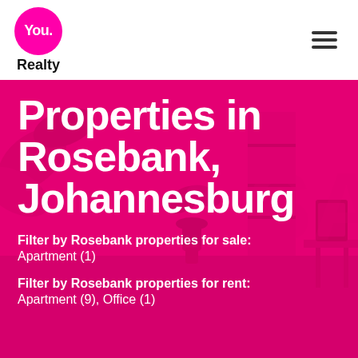You. Realty
Properties in Rosebank, Johannesburg
Filter by Rosebank properties for sale: Apartment (1)
Filter by Rosebank properties for rent: Apartment (9), Office (1)